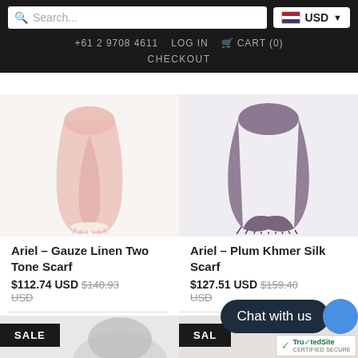Search... | USD | +61 2 9708 4611 | LOG IN | CART (0) | CHECKOUT
[Figure (photo): Pink gauze linen two-tone scarf product photo on white background]
Ariel – Gauze Linen Two Tone Scarf
$112.74 USD $140.93 USD
[Figure (photo): Purple/plum Khmer silk scarf product photo on white background]
Ariel – Plum Khmer Silk Scarf
$127.51 USD $159.40 USD
SALE
SALE
Chat with us
TrustedSite CERTIFIED SECURE